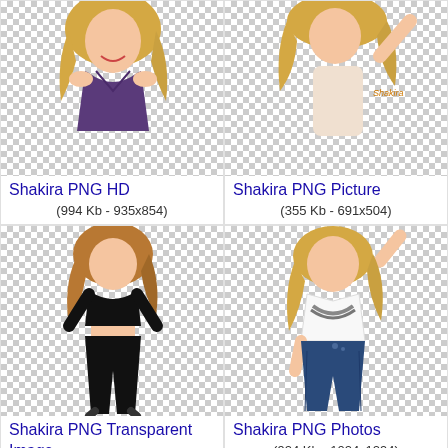[Figure (photo): Shakira PNG HD - woman with blonde wavy hair in dark top on transparent/checker background]
Shakira PNG HD
(994 Kb - 935x854)
[Figure (photo): Shakira PNG Picture - woman with blonde hair on transparent/checker background]
Shakira PNG Picture
(355 Kb - 691x504)
[Figure (photo): Shakira PNG Transparent Image - woman in black outfit dancing on transparent/checker background]
Shakira PNG Transparent Image
(502 Kb - 1024x1602)
[Figure (photo): Shakira PNG Photos - woman in white top and jeans on transparent/checker background]
Shakira PNG Photos
(924 Kb - 1024x1294)
[Figure (photo): Partial view - bottom row left image, blonde hair visible on checker background]
[Figure (photo): Partial view - bottom row right image, person on checker background]